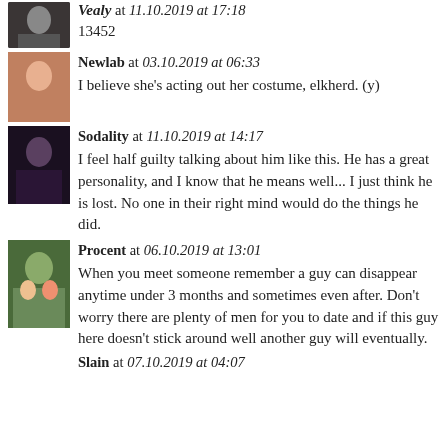Vealy at 11.10.2019 at 17:18
13452
Newlab at 03.10.2019 at 06:33
I believe she's acting out her costume, elkherd. (y)
Sodality at 11.10.2019 at 14:17
I feel half guilty talking about him like this. He has a great personality, and I know that he means well... I just think he is lost. No one in their right mind would do the things he did.
Procent at 06.10.2019 at 13:01
When you meet someone remember a guy can disappear anytime under 3 months and sometimes even after. Don't worry there are plenty of men for you to date and if this guy here doesn't stick around well another guy will eventually.
Slain at 07.10.2019 at 04:07